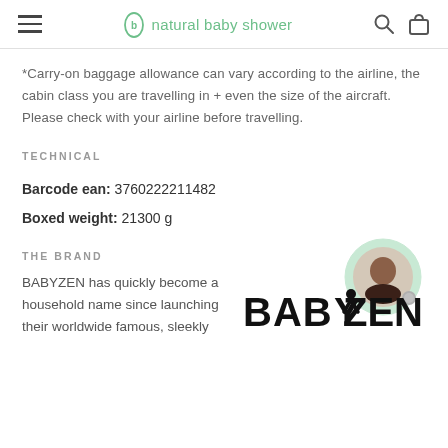natural baby shower
*Carry-on baggage allowance can vary according to the airline, the cabin class you are travelling in + even the size of the aircraft. Please check with your airline before travelling.
TECHNICAL
Barcode ean: 3760222211482
Boxed weight: 21300 g
THE BRAND
[Figure (photo): Customer service representative avatar photo in green circle border]
BABYZEN has quickly become a household name since launching their worldwide famous, sleekly
[Figure (logo): BABYZEN brand logo in bold black text with stylized character]